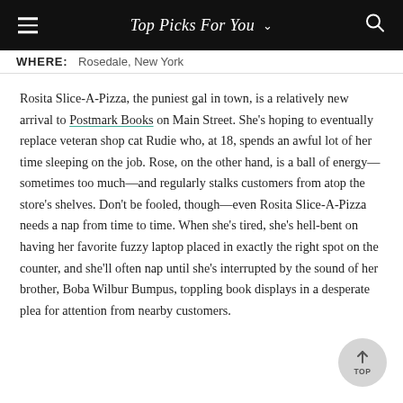Top Picks For You
WHERE: Rosedale, New York
Rosita Slice-A-Pizza, the puniest gal in town, is a relatively new arrival to Postmark Books on Main Street. She's hoping to eventually replace veteran shop cat Rudie who, at 18, spends an awful lot of her time sleeping on the job. Rose, on the other hand, is a ball of energy—sometimes too much—and regularly stalks customers from atop the store's shelves. Don't be fooled, though—even Rosita Slice-A-Pizza needs a nap from time to time. When she's tired, she's hell-bent on having her favorite fuzzy laptop placed in exactly the right spot on the counter, and she'll often nap until she's interrupted by the sound of her brother, Boba Wilbur Bumpus, toppling book displays in a desperate plea for attention from nearby customers.